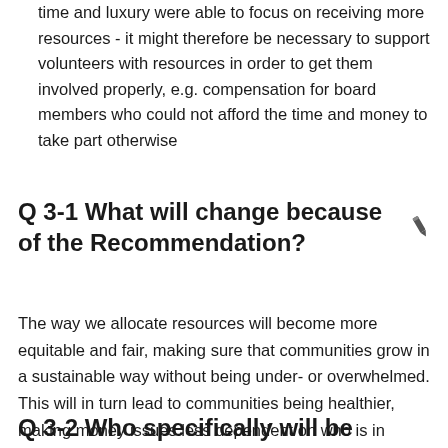time and luxury were able to focus on receiving more resources - it might therefore be necessary to support volunteers with resources in order to get them involved properly, e.g. compensation for board members who could not afford the time and money to take part otherwise
Q 3-1 What will change because of the Recommendation?
The way we allocate resources will become more equitable and fair, making sure that communities grow in a sustainable way without being under- or overwhelmed. This will in turn lead to communities being healthier, making money issues less dependent on who is in control of them.
Q 3-2 Who specifically will be